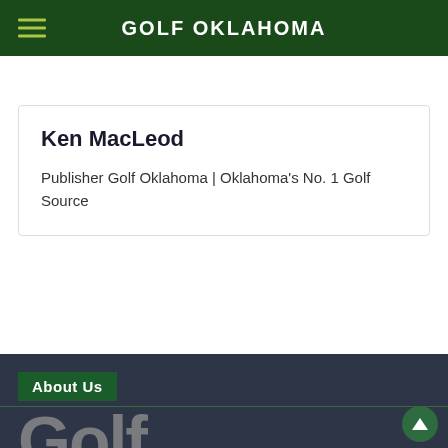GOLF OKLAHOMA
…y American →
Ken MacLeod
Publisher Golf Oklahoma | Oklahoma's No. 1 Golf Source
About Us
Golf